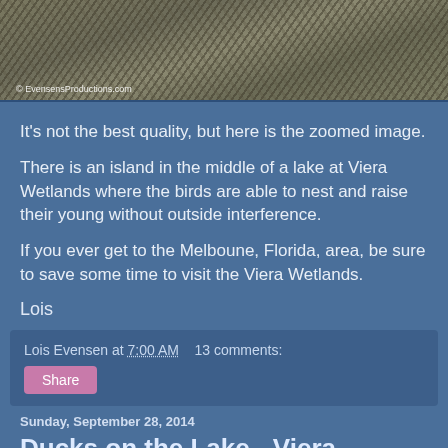[Figure (photo): Zoomed photo of birds nesting in bare tree branches at Viera Wetlands, with watermark '© EvensensProductions.com']
It's not the best quality, but here is the zoomed image.
There is an island in the middle of a lake at Viera Wetlands where the birds are able to nest and raise their young without outside interference.
If you ever get to the Melboune, Florida, area, be sure to save some time to visit the Viera Wetlands.
Lois
Lois Evensen at 7:00 AM   13 comments:
Share
Sunday, September 28, 2014
Ducks on the Lake - Viera Wetlands